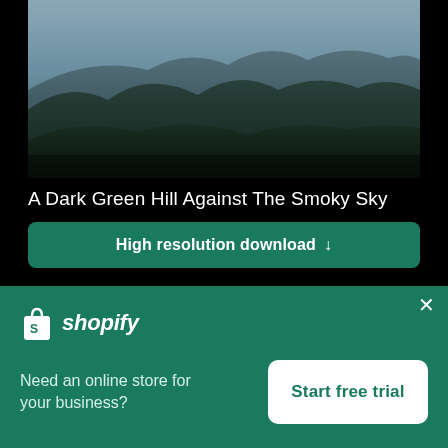[Figure (photo): Dark green mountain hills against a smoky, hazy sky — moody landscape photo in dark teal/grey tones]
A Dark Green Hill Against The Smoky Sky
High resolution download ↓
[Figure (photo): Blurred sky with white and pink/purple clouds, soft-focus landscape photo]
[Figure (logo): Shopify logo — white shopping bag icon and 'shopify' italic wordmark in white]
Need an online store for your business?
Start free trial